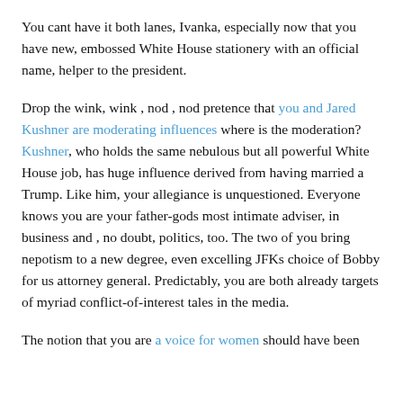You cant have it both lanes, Ivanka, especially now that you have new, embossed White House stationery with an official name, helper to the president.
Drop the wink, wink , nod , nod pretence that you and Jared Kushner are moderating influences where is the moderation? Kushner, who holds the same nebulous but all powerful White House job, has huge influence derived from having married a Trump. Like him, your allegiance is unquestioned. Everyone knows you are your father-gods most intimate adviser, in business and , no doubt, politics, too. The two of you bring nepotism to a new degree, even excelling JFKs choice of Bobby for us attorney general. Predictably, you are both already targets of myriad conflict-of-interest tales in the media.
The notion that you are a voice for women should have been